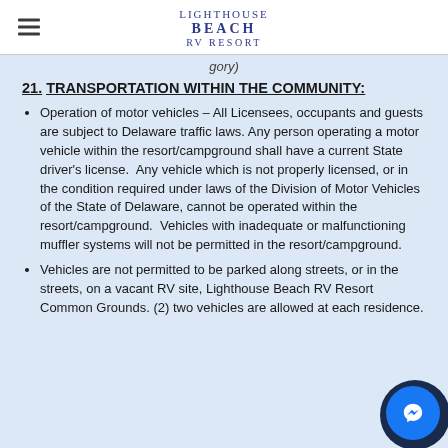Lighthouse Beach RV Resort
(continuing from previous section)
21. TRANSPORTATION WITHIN THE COMMUNITY:
Operation of motor vehicles – All Licensees, occupants and guests are subject to Delaware traffic laws. Any person operating a motor vehicle within the resort/campground shall have a current State driver's license.  Any vehicle which is not properly licensed, or in the condition required under laws of the Division of Motor Vehicles of the State of Delaware, cannot be operated within the resort/campground.  Vehicles with inadequate or malfunctioning muffler systems will not be permitted in the resort/campground.
Vehicles are not permitted to be parked along streets, or in the streets, on a vacant RV site, Lighthouse Beach RV Resort Common Grounds. (2) two vehicles are allowed at each residence.